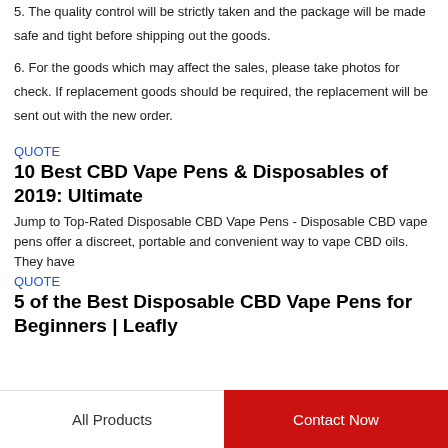5. The quality control will be strictly taken and the package will be made safe and tight before shipping out the goods.
6. For the goods which may affect the sales, please take photos for check. If replacement goods should be required, the replacement will be sent out with the new order.
QUOTE
10 Best CBD Vape Pens & Disposables of 2019: Ultimate
Jump to Top-Rated Disposable CBD Vape Pens - Disposable CBD vape pens offer a discreet, portable and convenient way to vape CBD oils. They have
QUOTE
5 of the Best Disposable CBD Vape Pens for Beginners | Leafly
All Products    Contact Now